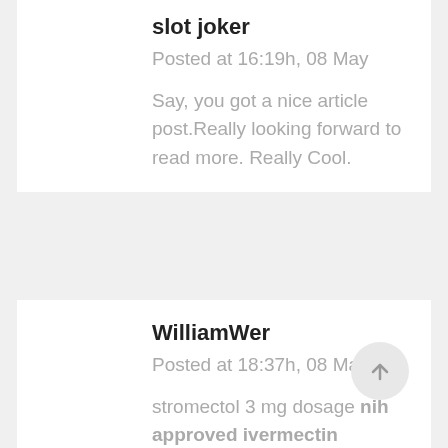slot joker
Posted at 16:19h, 08 May
Say, you got a nice article post.Really looking forward to read more. Really Cool.
WilliamWer
Posted at 18:37h, 08 May
stromectol 3 mg dosage nih approved ivermectin ivermectin